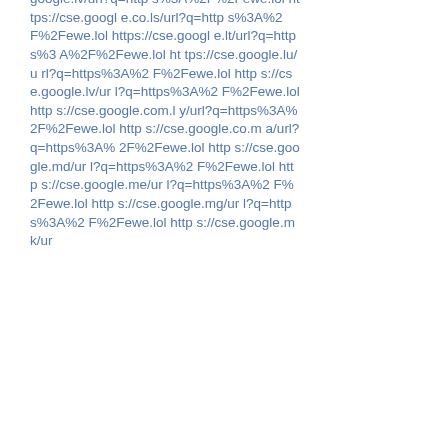google.lv/url?q=https%3A%2F%2Fewe.lol https://cse.google.co.ls/url?q=https%3A%2F%2Fewe.lol https://cse.google.lt/url?q=https%3A%2F%2Fewe.lol https://cse.google.lu/url?q=https%3A%2F%2Fewe.lol https://cse.google.lv/url?q=https%3A%2F%2Fewe.lol https://cse.google.com.ly/url?q=https%3A%2F%2Fewe.lol https://cse.google.co.ma/url?q=https%3A%2F%2Fewe.lol https://cse.google.md/url?q=https%3A%2F%2Fewe.lol https://cse.google.me/url?q=https%3A%2F%2Fewe.lol https://cse.google.mg/url?q=https%3A%2F%2Fewe.lol https://cse.google.mk/ur